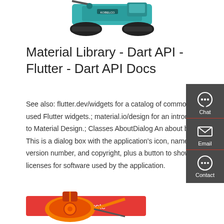[Figure (photo): Top view of a tracked construction crane/drilling machine in teal/blue color]
Material Library - Dart API - Flutter - Dart API Docs
See also: flutter.dev/widgets for a catalog of commonly-used Flutter widgets.; material.io/design for an introduction to Material Design.; Classes AboutDialog An about box. This is a dialog box with the application's icon, name, version number, and copyright, plus a button to show licenses for software used by the application.
[Figure (infographic): Side panel with Chat, Email, and Contact icons on dark grey background]
Get a quote
[Figure (photo): Bottom portion of an orange construction/industrial equipment piece]